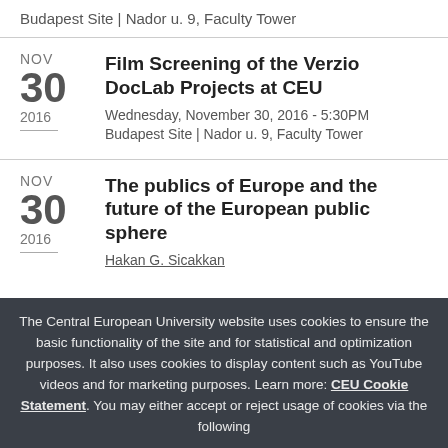Budapest Site | Nador u. 9, Faculty Tower
Film Screening of the Verzio DocLab Projects at CEU — Wednesday, November 30, 2016 - 5:30PM — Budapest Site | Nador u. 9, Faculty Tower
The publics of Europe and the future of the European public sphere — Hakan G. Sicakkan
The Central European University website uses cookies to ensure the basic functionality of the site and for statistical and optimization purposes. It also uses cookies to display content such as YouTube videos and for marketing purposes. Learn more: CEU Cookie Statement. You may either accept or reject usage of cookies via the following